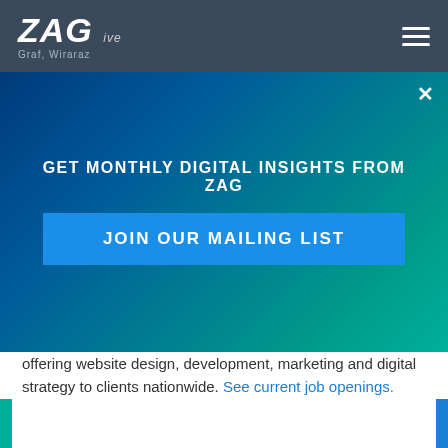ZAG
[Figure (other): Modal overlay banner with gradient background (dark blue to teal), close button (×), heading 'GET MONTHLY DIGITAL INSIGHTS FROM ZAG', and a bright blue 'JOIN OUR MAILING LIST' button]
offering website design, development, marketing and digital strategy to clients nationwide. See current job openings.
RELATED ARTICLE
17 Sites Launched in 2017...and Counting